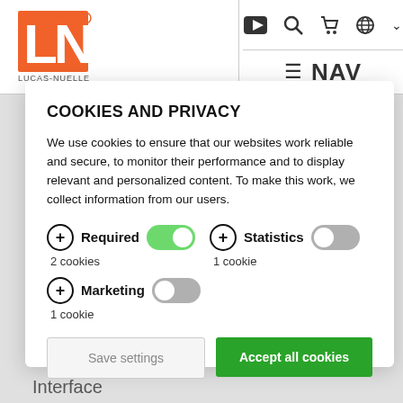[Figure (logo): Lucas-Nuelle LN logo in orange and white]
[Figure (screenshot): Navigation icons: YouTube play button, search magnifier, shopping cart, globe with dropdown arrow]
≡ NAV
COOKIES AND PRIVACY
We use cookies to ensure that our websites work reliable and secure, to monitor their performance and to display relevant and personalized content. To make this work, we collect information from our users.
Required 2 cookies (toggle ON)
Statistics 1 cookie (toggle OFF)
Marketing 1 cookie (toggle OFF)
Save settings
Accept all cookies
Interface